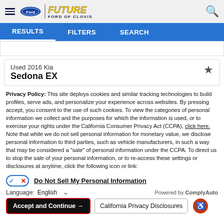[Figure (logo): Future Ford of Clovis dealership logo with Ford oval and navigation hamburger menu]
RESULTS   FILTERS   SEARCH
Used 2016 Kia
Sedona EX
Privacy Policy: This site deploys cookies and similar tracking technologies to build profiles, serve ads, and personalize your experience across websites. By pressing accept, you consent to the use of such cookies. To view the categories of personal information we collect and the purposes for which the information is used, or to exercise your rights under the California Consumer Privacy Act (CCPA), click here. Note that while we do not sell personal information for monetary value, we disclose personal information to third parties, such as vehicle manufacturers, in such a way that may be considered a "sale" of personal information under the CCPA. To direct us to stop the sale of your personal information, or to re-access these settings or disclosures at anytime, click the following icon or link:
Do Not Sell My Personal Information
Language: English   Powered by ComplyAuto
Accept and Continue →   California Privacy Disclosures